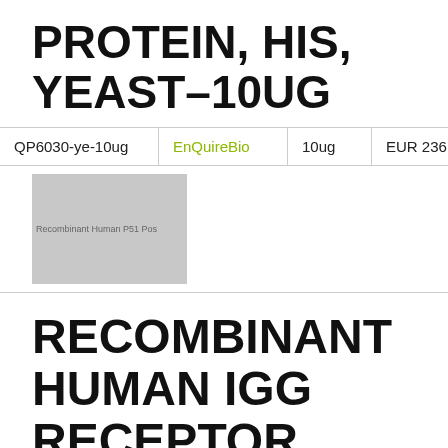PROTEIN, HIS, YEAST-10UG
|  | EnQuireBio | 10ug | EUR 236 |
| --- | --- | --- | --- |
| QP6030-ye-10ug | EnQuireBio | 10ug | EUR 236 |
[Figure (photo): Product image placeholder — gray rectangle with small text 'Recombinant Human P51 Pos']
RECOMBINANT HUMAN IGG RECEPTOR FCRN LARGE SUBUNIT P51